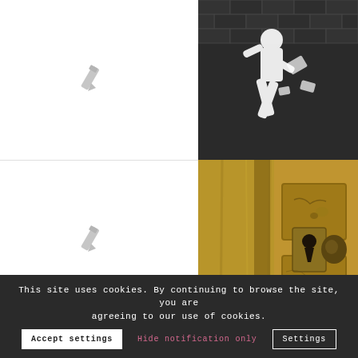[Figure (illustration): Gray pencil/edit icon centered in white left panel, top row]
[Figure (photo): Black and white vintage photo of a person running or jumping near a brick wall, wearing sports clothing]
[Figure (illustration): Gray pencil/edit icon centered in white left panel, bottom row]
[Figure (photo): Close-up photo of an old weathered yellow/golden wooden door with a keyhole escutcheon and a round door knob]
This site uses cookies. By continuing to browse the site, you are agreeing to our use of cookies.
Accept settings
Hide notification only
Settings